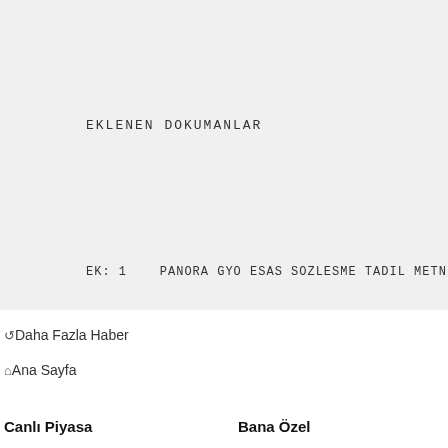EKLENEN DOKUMANLAR
EK: 1    PANORA GYO ESAS SOZLESME TADIL METNI.PD
Daha Fazla Haber
Ana Sayfa
Canlı Piyasa
Bana Özel